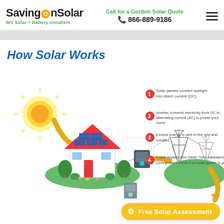SavingOnSolar — WV Solar + Battery Installers | Call for a Gordon Solar Quote 866-889-9186
[Figure (infographic): How Solar Works infographic showing a house with solar panels, sun, inverter box, power transmission towers, and 4 numbered steps: (1) Solar panels convert sunlight into direct current (DC). (2) Inverter converts electricity from DC to alternating current (AC) to power your home. (3) Excess energy is sent to the grid and credited. (4) Credit applied and meter 'runs backwards.' (Grid powers home if no solar power is generated.)]
How Solar Works
1 Solar panels convert sunlight into direct current (DC)
2 Inverter converts electricity from DC to alternating current (AC) to power your home
3 Excess energy is sent to the grid and credited
4 Credit applied and meter 'runs backwards.' (Grid powers home if no solar power is generated.)
Free Solar Assessment